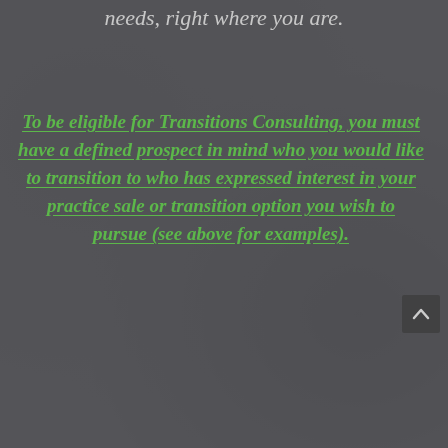needs, right where you are.
To be eligible for Transitions Consulting, you must have a defined prospect in mind who you would like to transition to who has expressed interest in your practice sale or transition option you wish to pursue (see above for examples).